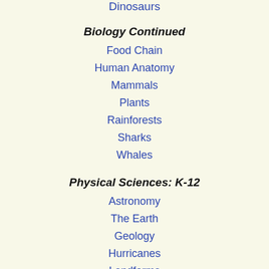Dinosaurs
Biology Continued
Food Chain
Human Anatomy
Mammals
Plants
Rainforests
Sharks
Whales
Physical Sciences: K-12
Astronomy
The Earth
Geology
Hurricanes
Landforms